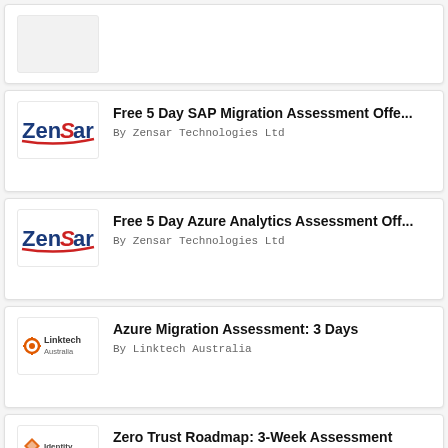[Figure (other): Partially visible card at top (cropped)]
Free 5 Day SAP Migration Assessment Offe...
By Zensar Technologies Ltd
Free 5 Day Azure Analytics Assessment Off...
By Zensar Technologies Ltd
Azure Migration Assessment: 3 Days
By Linktech Australia
Zero Trust Roadmap: 3-Week Assessment
By Identity Experts Limited